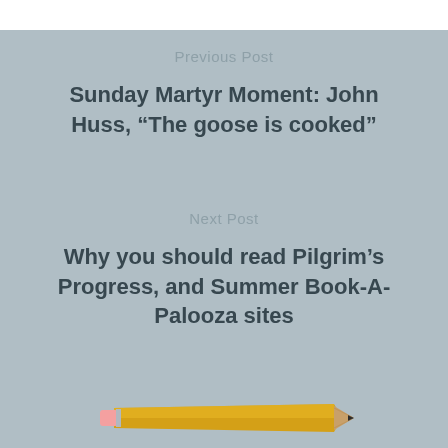Previous Post
Sunday Martyr Moment: John Huss, “The goose is cooked”
Next Post
Why you should read Pilgrim’s Progress, and Summer Book-A-Palooza sites
[Figure (illustration): Illustration of a yellow pencil with pink eraser and dark tip, oriented diagonally from lower-left to lower-right]